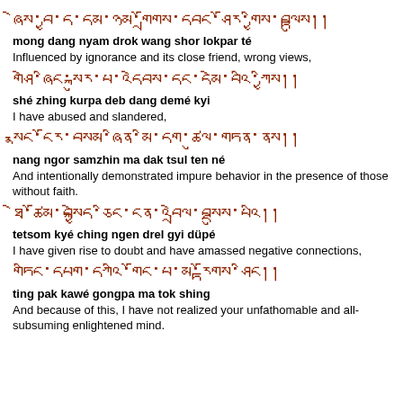Tibetan script: mong dang nyam drok wang shor lokpar té
mong dang nyam drok wang shor lokpar té
Influenced by ignorance and its close friend, wrong views,
Tibetan script: shé zhing kurpa deb dang demé kyi
shé zhing kurpa deb dang demé kyi
I have abused and slandered,
Tibetan script: nang ngor samzhin ma dak tsul ten né
nang ngor samzhin ma dak tsul ten né
And intentionally demonstrated impure behavior in the presence of those without faith.
Tibetan script: tetsom kyé ching ngen drel gyi düpé
tetsom kyé ching ngen drel gyi düpé
I have given rise to doubt and have amassed negative connections,
Tibetan script: ting pak kawé gongpa ma tok shing
ting pak kawé gongpa ma tok shing
And because of this, I have not realized your unfathomable and all-subsuming enlightened mind.